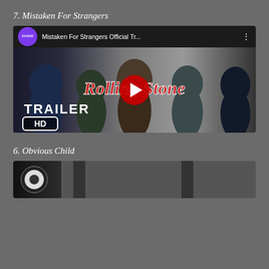7. Mistaken For Strangers
[Figure (screenshot): YouTube video thumbnail for 'Mistaken For Strangers Official Tr...' showing four men (band members) with Rolling Stone and TRAILER HD overlay text, with a red YouTube play button in the center. An INDIE channel badge is visible in the top bar.]
6. Obvious Child
[Figure (screenshot): Partial YouTube video thumbnail at the bottom of the page showing the beginning of a video for item 6 Obvious Child, with a circular logo visible on the left.]